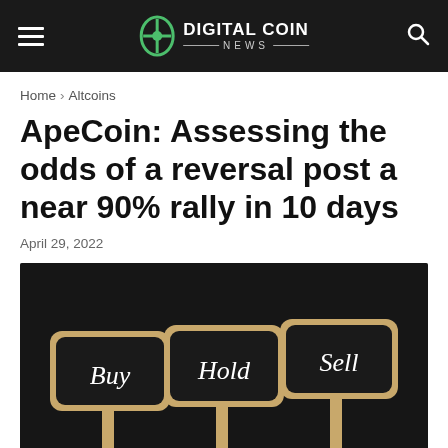Digital Coin News
Home > Altcoins
ApeCoin: Assessing the odds of a reversal post a near 90% rally in 10 days
April 29, 2022
[Figure (photo): Three wooden stick signs with chalkboard-style black plaques reading 'Buy', 'Hold', and 'Sell' in white script lettering, set against a dark background.]